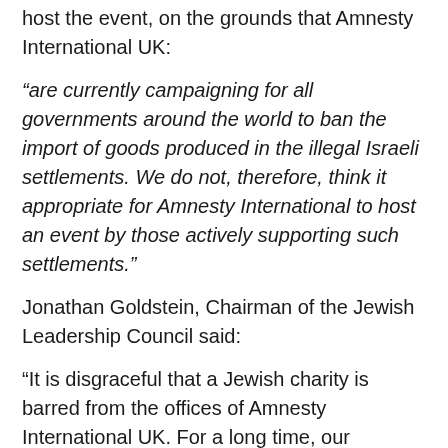host the event, on the grounds that Amnesty International UK:
“are currently campaigning for all governments around the world to ban the import of goods produced in the illegal Israeli settlements. We do not, therefore, think it appropriate for Amnesty International to host an event by those actively supporting such settlements.”
Jonathan Goldstein, Chairman of the Jewish Leadership Council said:
“It is disgraceful that a Jewish charity is barred from the offices of Amnesty International UK. For a long time, our community has been deeply disappointed by Amnesty International’s failure to understand and...